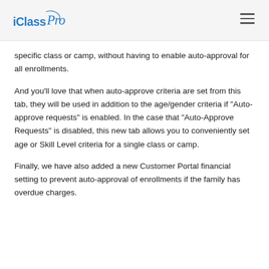iClassPro
specific class or camp, without having to enable auto-approval for all enrollments.
And you'll love that when auto-approve criteria are set from this tab, they will be used in addition to the age/gender criteria if "Auto-approve requests" is enabled. In the case that "Auto-Approve Requests" is disabled, this new tab allows you to conveniently set age or Skill Level criteria for a single class or camp.
Finally, we have also added a new Customer Portal financial setting to prevent auto-approval of enrollments if the family has overdue charges.